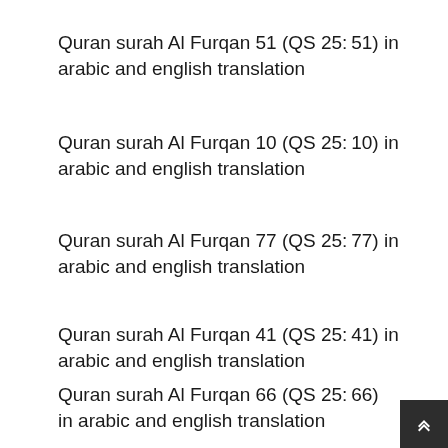Quran surah Al Furqan 51 (QS 25: 51) in arabic and english translation
Quran surah Al Furqan 10 (QS 25: 10) in arabic and english translation
Quran surah Al Furqan 77 (QS 25: 77) in arabic and english translation
Quran surah Al Furqan 41 (QS 25: 41) in arabic and english translation
Quran surah Al Furqan 66 (QS 25: 66) in arabic and english translation